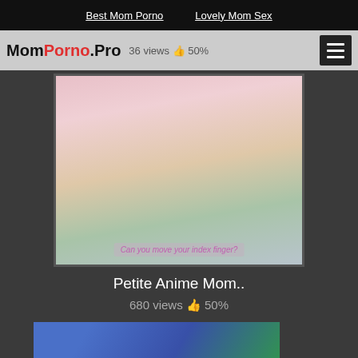Best Mom Porno   Lovely Mom Sex
MomPorno.Pro  36 views  50%
[Figure (illustration): Anime illustration thumbnail with caption 'Can you move your index finger?']
Petite Anime Mom..
680 views  50%
[Figure (photo): Partial thumbnail of outdoor scene with person in blue clothing]